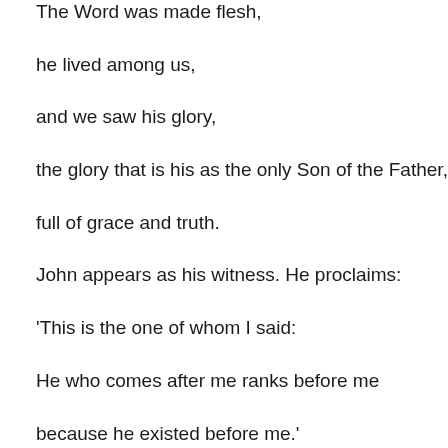The Word was made flesh,
he lived among us,
and we saw his glory,
the glory that is his as the only Son of the Father,
full of grace and truth.
John appears as his witness. He proclaims:
'This is the one of whom I said:
He who comes after me ranks before me
because he existed before me.'
Indeed, from his fullness we have, all of us, received –
yes, grace in return for grace,